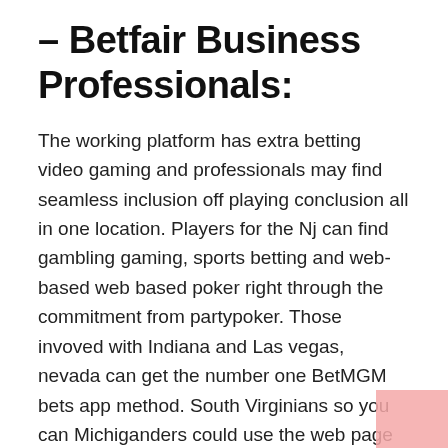– Betfair Business Professionals:
The working platform has extra betting video gaming and professionals may find seamless inclusion off playing conclusion all in one location. Players for the Nj can find gambling gaming, sports betting and web-based web based poker right through the commitment from partypoker. Those invoved with Indiana and Las vegas, nevada can get the number one BetMGM bets app method. South Virginians so you can Michiganders could use the web page because application for its gaming gaming so you can sports activities playing. The participants enjoy a